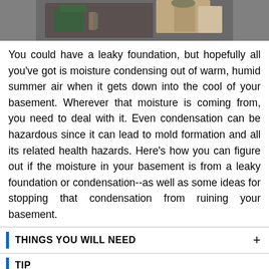[Figure (photo): Close-up photo of hands working with pipes or plumbing fixtures, showing green hose and other equipment]
You could have a leaky foundation, but hopefully all you've got is moisture condensing out of warm, humid summer air when it gets down into the cool of your basement. Wherever that moisture is coming from, you need to deal with it. Even condensation can be hazardous since it can lead to mold formation and all its related health hazards. Here's how you can figure out if the moisture in your basement is from a leaky foundation or condensation--as well as some ideas for stopping that condensation from ruining your basement.
THINGS YOU WILL NEED
TIP
If you have a well water pressure tank, wrap that as well to prevent condensation. An insulating blanket